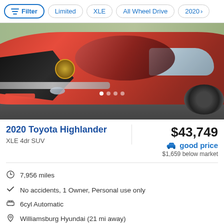Filter | Limited | XLE | All Wheel Drive | 2020
[Figure (photo): Front view of a red 2020 Toyota Highlander SUV, close-up of front grille and headlight area, parked on a driveway with greenery in background]
2020 Toyota Highlander
XLE 4dr SUV
$43,749
good price
$1,659 below market
7,956 miles
No accidents, 1 Owner, Personal use only
6cyl Automatic
Williamsburg Hyundai (21 mi away)